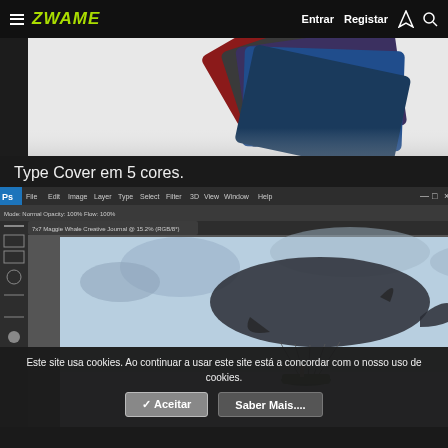ZWAME — Entrar  Registar
[Figure (photo): Banner showing multiple Surface Type Cover keyboards fanned out in 5 colors: red, dark gray, purple, blue, and navy blue, against a white-to-dark gradient background.]
Type Cover em 5 cores.
[Figure (screenshot): Adobe Photoshop CC interface screenshot showing a surreal digital artwork of a humpback whale flying through clouds while towing a small boat, with color panel and adjustments panel visible on the right.]
Este site usa cookies. Ao continuar a usar este site está a concordar com o nosso uso de cookies.